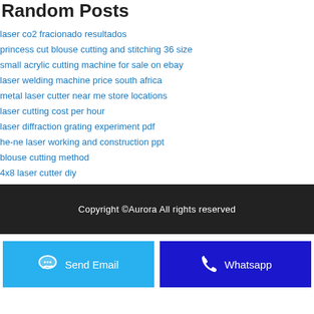Random Posts
laser co2 fracionado resultados
princess cut blouse cutting and stitching 36 size
small acrylic cutting machine for sale on ebay
laser welding machine price south africa
metal laser cutter near me store locations
laser cutting cost per hour
laser diffraction grating experiment pdf
he-ne laser working and construction ppt
blouse cutting method
4x8 laser cutter diy
Copyright ©Aurora All rights reserved